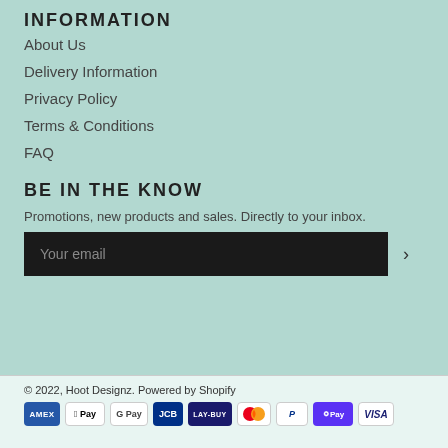INFORMATION
About Us
Delivery Information
Privacy Policy
Terms & Conditions
FAQ
BE IN THE KNOW
Promotions, new products and sales. Directly to your inbox.
Your email
© 2022, Hoot Designz. Powered by Shopify
[Figure (other): Payment method icons: American Express, Apple Pay, Google Pay, JCB, Lay-Buy, Mastercard, PayPal, Shop Pay, Visa]